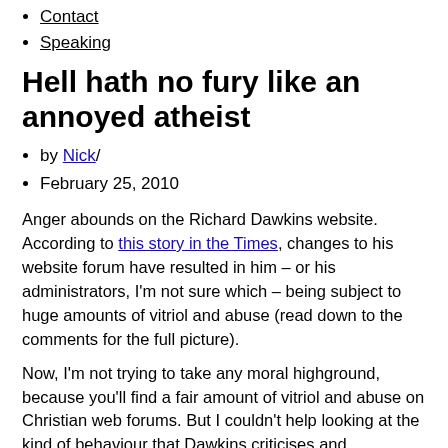Contact
Speaking
Hell hath no fury like an annoyed atheist
by Nick/
February 25, 2010
Anger abounds on the Richard Dawkins website. According to this story in the Times, changes to his website forum have resulted in him – or his administrators, I'm not sure which – being subject to huge amounts of vitriol and abuse (read down to the comments for the full picture).
Now, I'm not trying to take any moral highground, because you'll find a fair amount of vitriol and abuse on Christian web forums. But I couldn't help looking at the kind of behaviour that Dawkins criticises and wondering what he would make of it if it happened on a Christian site. Because what annoys me about Richard Dawkins is not that he criticises religious belief – anyone has a right to do that – it's that he always lumps